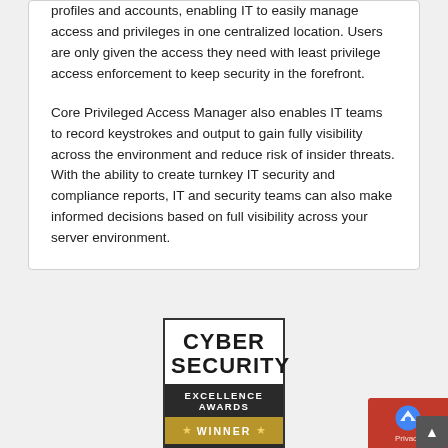profiles and accounts, enabling IT to easily manage access and privileges in one centralized location. Users are only given the access they need with least privilege access enforcement to keep security in the forefront.
Core Privileged Access Manager also enables IT teams to record keystrokes and output to gain fully visibility across the environment and reduce risk of insider threats. With the ability to create turnkey IT security and compliance reports, IT and security teams can also make informed decisions based on full visibility across your server environment.
[Figure (logo): Cyber Security Excellence Awards Winner 2022 badge/logo — white top section with 'CYBER SECURITY' in bold black text, dark band with 'EXCELLENCE AWARDS' in white, gold band with star WINNER star text, dark bottom with '2022']